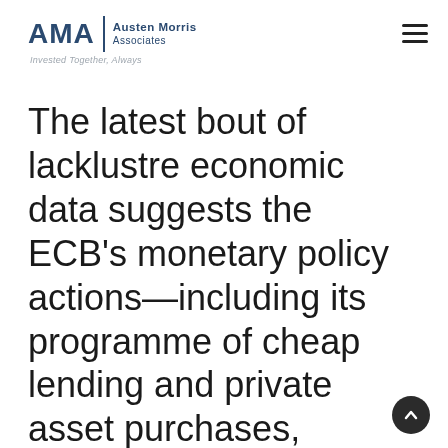AMA | Austen Morris Associates — Invested Together, Always
The latest bout of lacklustre economic data suggests the ECB's monetary policy actions—including its programme of cheap lending and private asset purchases, coupled with record-low interest rates—have had limited effect on reviving eurozone economic growth. This is leading to increased pressure on the ECB to undertake more